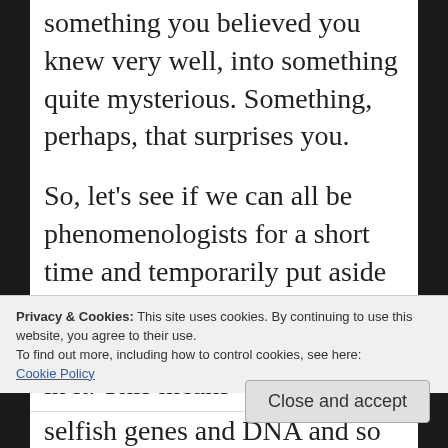something you believed you knew very well, into something quite mysterious. Something, perhaps, that surprises you.
So, let’s see if we can all be phenomenologists for a short time and temporarily put aside everything we know about the world we live in and our place in it. This means
Privacy & Cookies: This site uses cookies. By continuing to use this website, you agree to their use.
To find out more, including how to control cookies, see here: Cookie Policy
Close and accept
selfish genes and DNA and so forth